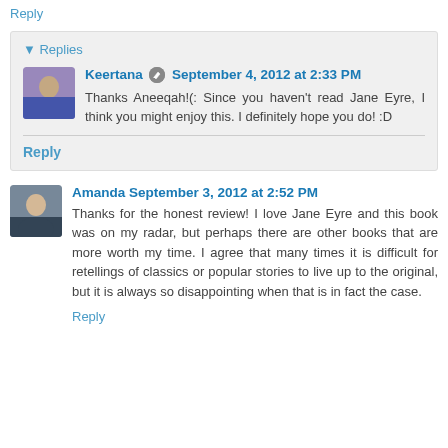Reply
▼ Replies
Keertana  September 4, 2012 at 2:33 PM
Thanks Aneeqah!(: Since you haven't read Jane Eyre, I think you might enjoy this. I definitely hope you do! :D
Reply
Amanda  September 3, 2012 at 2:52 PM
Thanks for the honest review! I love Jane Eyre and this book was on my radar, but perhaps there are other books that are more worth my time. I agree that many times it is difficult for retellings of classics or popular stories to live up to the original, but it is always so disappointing when that is in fact the case.
Reply